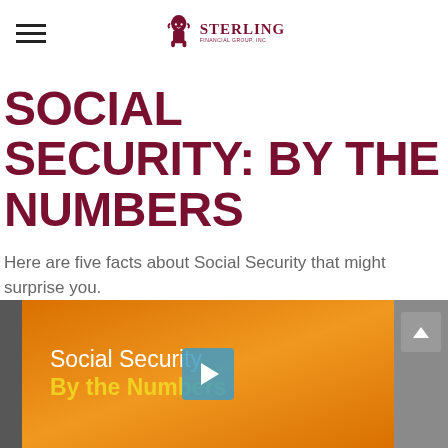Sterling Financial Group, Inc.
SOCIAL SECURITY: BY THE NUMBERS
Here are five facts about Social Security that might surprise you.
[Figure (screenshot): Video thumbnail with orange gradient background showing 'Social Security By the Numbers' text in white and yellow, with a blue play button overlay in the center.]